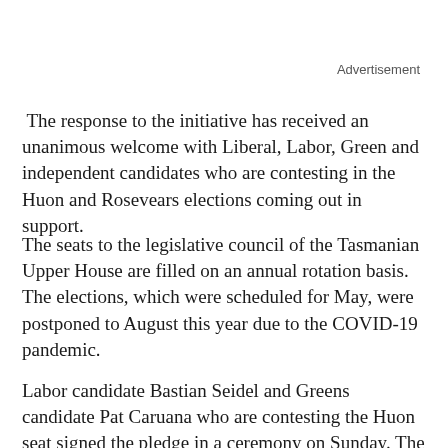Advertisement
The response to the initiative has received an unanimous welcome with Liberal, Labor, Green and independent candidates who are contesting in the Huon and Rosevears elections coming out in support.
The seats to the legislative council of the Tasmanian Upper House are filled on an annual rotation basis. The elections, which were scheduled for May, were postponed to August this year due to the COVID-19 pandemic.
Labor candidate Bastian Seidel and Greens candidate Pat Caruana who are contesting the Huon seat signed the pledge in a ceremony on Sunday. The sitting member for Huon, Robert Armstrong, is known to also